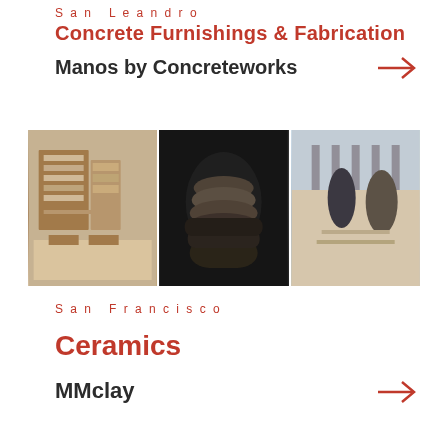San Leandro
Concrete Furnishings & Fabrication
Manos by Concreteworks →
[Figure (photo): Three-panel photo strip: left shows a ceramics/craft shop interior with shelves and tables; center shows hands holding a stack of stoneware bowls against dark background; right shows people working in a ceramics studio]
San Francisco
Ceramics
MMclay →